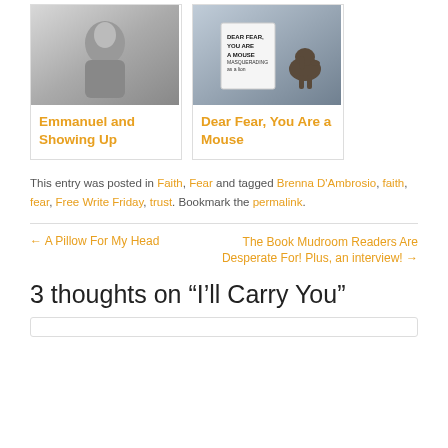[Figure (illustration): Two blog post cards side by side. Left card: grayscale photo of a person from behind in snow, titled 'Emmanuel and Showing Up'. Right card: photo of a toy elephant near a book cover reading 'Dear Fear, You Are a Mouse Masquerading as a Lion', titled 'Dear Fear, You Are a Mouse'.]
This entry was posted in Faith, Fear and tagged Brenna D'Ambrosio, faith, fear, Free Write Friday, trust. Bookmark the permalink.
← A Pillow For My Head
The Book Mudroom Readers Are Desperate For! Plus, an interview! →
3 thoughts on “I’ll Carry You”